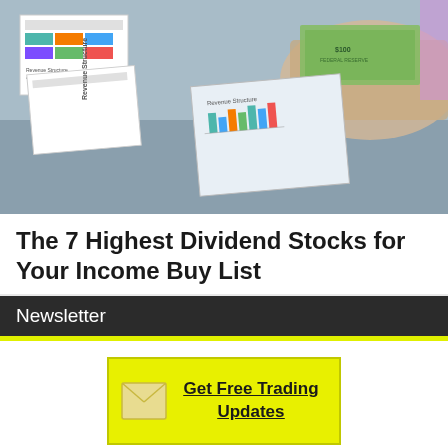[Figure (photo): Photo of hands holding cash money over financial charts and revenue structure documents on a desk]
The 7 Highest Dividend Stocks for Your Income Buy List
Newsletter
[Figure (infographic): Yellow call-to-action button with envelope icon and text 'Get Free Trading Updates']